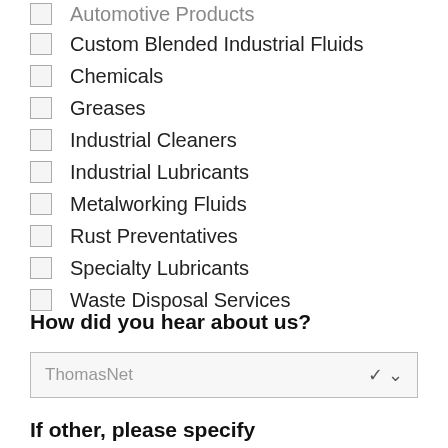Automotive Products
Custom Blended Industrial Fluids
Chemicals
Greases
Industrial Cleaners
Industrial Lubricants
Metalworking Fluids
Rust Preventatives
Specialty Lubricants
Waste Disposal Services
How did you hear about us?
ThomasNet
If other, please specify